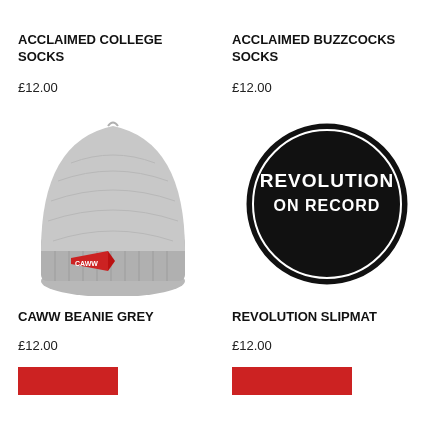ACCLAIMED COLLEGE SOCKS
£12.00
ACCLAIMED BUZZCOCKS SOCKS
£12.00
[Figure (photo): Grey knit beanie hat with a small red pennant flag embroidered with 'CAWW']
[Figure (photo): Round black slipmat with white circle border and 'REVOLUTION ON RECORD' text]
CAWW BEANIE GREY
£12.00
REVOLUTION SLIPMAT
£12.00
[Figure (photo): Partially visible red product image at bottom left]
[Figure (photo): Partially visible red product image at bottom right]